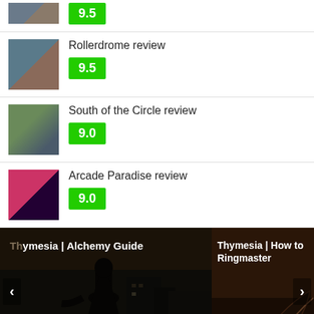9.5
Rollerdrome review 9.5
South of the Circle review 9.0
Arcade Paradise review 9.0
[Figure (screenshot): Carousel banner with two panels: left panel shows 'Thymesia | Alchemy Guide' with a dark cloaked figure silhouette against a moody background; right panel shows 'Thymesia | How to beat Ringmaster' with a dark reddish-brown background and a curved blade/scythe shape. Navigation arrows on left and right sides.]